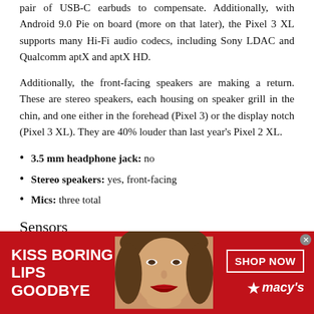pair of USB-C earbuds to compensate. Additionally, with Android 9.0 Pie on board (more on that later), the Pixel 3 XL supports many Hi-Fi audio codecs, including Sony LDAC and Qualcomm aptX and aptX HD.
Additionally, the front-facing speakers are making a return. These are stereo speakers, each housing on speaker grill in the chin, and one either in the forehead (Pixel 3) or the display notch (Pixel 3 XL). They are 40% louder than last year's Pixel 2 XL.
3.5 mm headphone jack: no
Stereo speakers: yes, front-facing
Mics: three total
Sensors
You will find all the standard sensors in the Pixel 3 XL
[Figure (photo): Macy's advertisement banner with red background showing a woman's face with red lips. Text reads 'KISS BORING LIPS GOODBYE' on the left, and 'SHOP NOW' button with Macy's star logo on the right.]